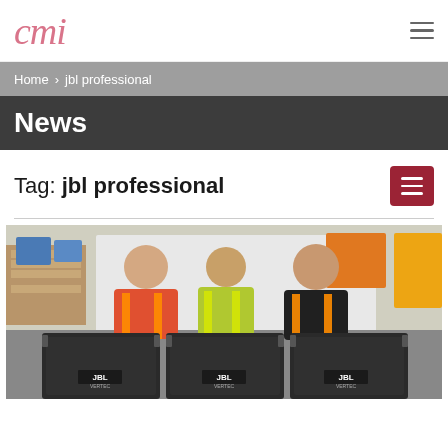Cmi
Home > jbl professional
News
Tag: jbl professional
[Figure (photo): Three men in high-visibility vests leaning over three JBL professional speaker cabinets in a warehouse setting. The two on the outside wear orange vests, the middle man wears a yellow vest. JBL logos are visible on the speaker cabinets.]